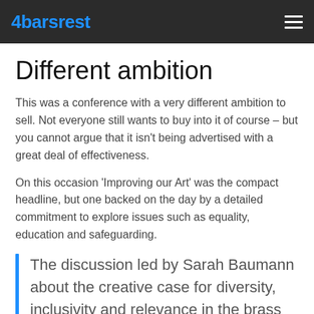4barsrest
Different ambition
This was a conference with a very different ambition to sell. Not everyone still wants to buy into it of course – but you cannot argue that it isn't being advertised with a great deal of effectiveness.
On this occasion 'Improving our Art' was the compact headline, but one backed on the day by a detailed commitment to explore issues such as equality, education and safeguarding.
The discussion led by Sarah Baumann about the creative case for diversity, inclusivity and relevance in the brass